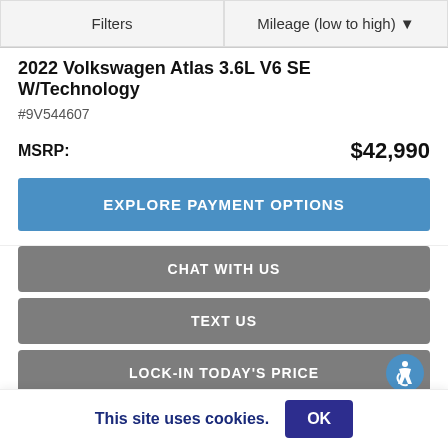Filters
Mileage (low to high) ▼
2022 Volkswagen Atlas 3.6L V6 SE W/Technology
#9V544607
MSRP: $42,990
EXPLORE PAYMENT OPTIONS
CHAT WITH US
TEXT US
LOCK-IN TODAY'S PRICE
CLICK TO CALL
This site uses cookies. OK